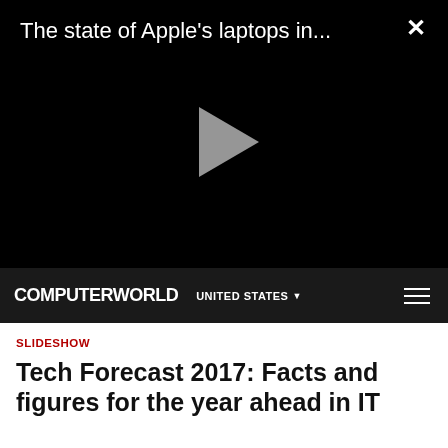[Figure (screenshot): Video player with black background, play button in center, title 'The state of Apple's laptops in...' at top left, close (X) button at top right]
COMPUTERWORLD   UNITED STATES ▾
SLIDESHOW
Tech Forecast 2017: Facts and figures for the year ahead in IT